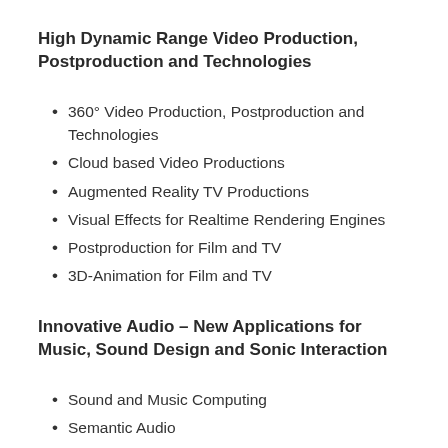High Dynamic Range Video Production, Postproduction and Technologies
360° Video Production, Postproduction and Technologies
Cloud based Video Productions
Augmented Reality TV Productions
Visual Effects for Realtime Rendering Engines
Postproduction for Film and TV
3D-Animation for Film and TV
Innovative Audio – New Applications for Music, Sound Design and Sonic Interaction
Sound and Music Computing
Semantic Audio